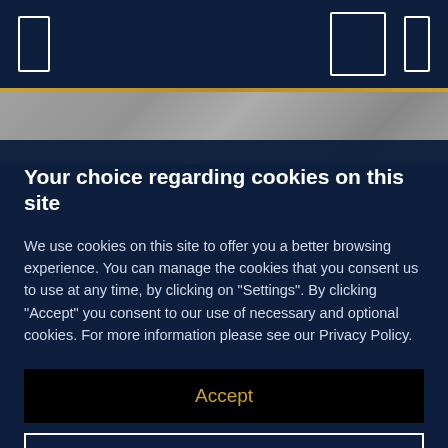[Figure (screenshot): Website header navigation bar with dark navy background, left icon (rectangle outline), and two right icons including one highlighted in a box]
[Figure (photo): Partial photo strip showing a person at a desk, muted and partially visible]
Your choice regarding cookies on this site
We use cookies on this site to offer you a better browsing experience. You can manage the cookies that you consent us to use at any time, by clicking on "Settings". By clicking "Accept" you consent to our use of necessary and optional cookies. For more information please see our Privacy Policy.
Accept
Settings